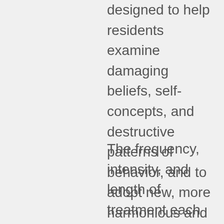designed to help residents examine damaging beliefs, self-concepts, and destructive patterns of behavior, and to adopt new, more harmonious and constructive ways to interact with others.
The frequency, intensity, and length of treatment each depends on the individual patient's needs but consists of a planned regimen of clinical services for a minimum of 25 hours per week. The program offers individual and group counseling on drug education, relapse prevention, cognitive...